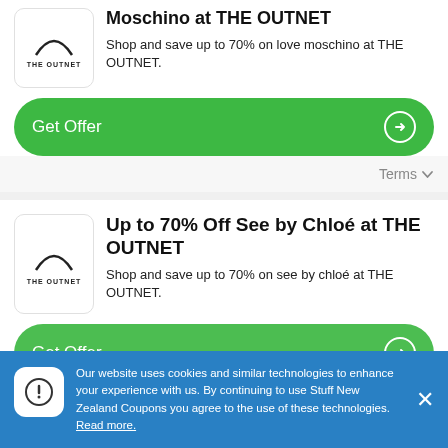[Figure (logo): THE OUTNET logo with arch/smile graphic]
Moschino at THE OUTNET
Shop and save up to 70% on love moschino at THE OUTNET.
Get Offer
Terms
[Figure (logo): THE OUTNET logo with arch/smile graphic]
Up to 70% Off See by Chloé at THE OUTNET
Shop and save up to 70% on see by chloé at THE OUTNET.
Get Offer
Our website uses cookies and similar technologies to enhance your experience with us. By continuing to use Stuff New Zealand Coupons you agree to the use of these technologies. Read more.